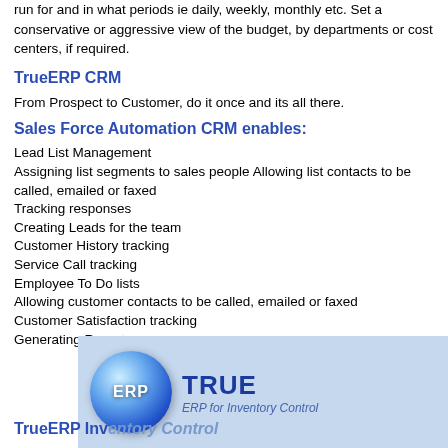run for and in what periods ie daily, weekly, monthly etc. Set a conservative or aggressive view of the budget, by departments or cost centers, if required.
TrueERP CRM
From Prospect to Customer, do it once and its all there.
Sales Force Automation CRM enables:
Lead List Management
Assigning list segments to sales people Allowing list contacts to be called, emailed or faxed
Tracking responses
Creating Leads for the team
Customer History tracking
Service Call tracking
Employee To Do lists
Allowing customer contacts to be called, emailed or faxed
Customer Satisfaction tracking
Generating Reports
TrueERP Inventory Control
[Figure (logo): TrueERP logo with blue sphere and TRUE ERP text overlay on light blue background]